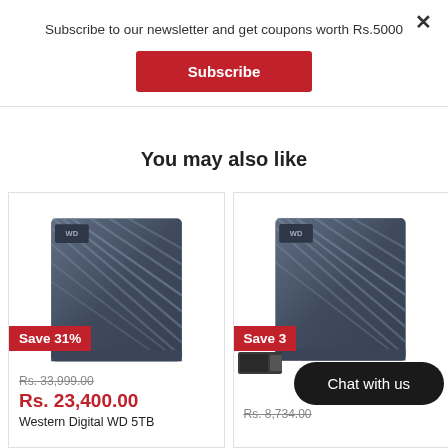Subscribe to our newsletter and get coupons worth Rs.5000
Subscribe
You may also like
[Figure (photo): WD 5TB external hard drive, dark blue/slate color with diagonal ridged design and WD logo badge]
Save 31%
Rs. 33,999.00
Rs. 23,400.00
Western Digital WD 5TB
[Figure (photo): WD external hard drive, dark blue/slate color with diagonal ridged design and WD logo badge, partially visible]
Save 3...
Rs. 8,734.00
Chat with us